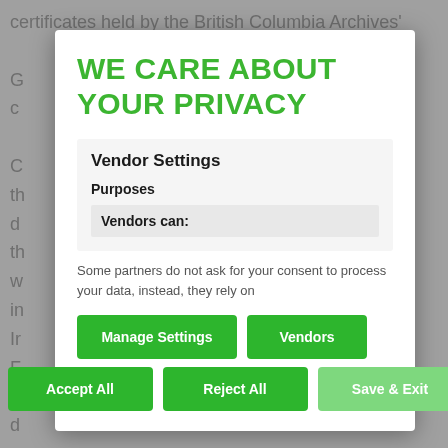certificates held by the British Columbia Archives'
deaths, or that the parents were not informed, or the
WE CARE ABOUT YOUR PRIVACY
Vendor Settings
Purposes
Vendors can:
Some partners do not ask for your consent to process your data, instead, they rely on
Manage Settings
Vendors
Accept All
Reject All
Save & Exit